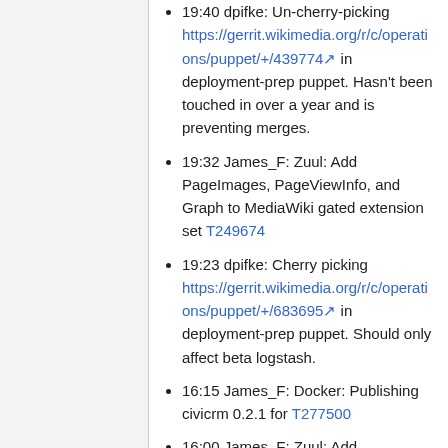19:40 dpifke: Un-cherry-picking https://gerrit.wikimedia.org/r/c/operations/puppet/+/439774 in deployment-prep puppet. Hasn't been touched in over a year and is preventing merges.
19:32 James_F: Zuul: Add PageImages, PageViewInfo, and Graph to MediaWiki gated extension set T249674
19:23 dpifke: Cherry picking https://gerrit.wikimedia.org/r/c/operations/puppet/+/683695 in deployment-prep puppet. Should only affect beta logstash.
16:15 James_F: Docker: Publishing civicrm 0.2.1 for T277500
16:00 James_F: Zuul: Add GrowthExperiments to the MediaWiki gated extension set T247507